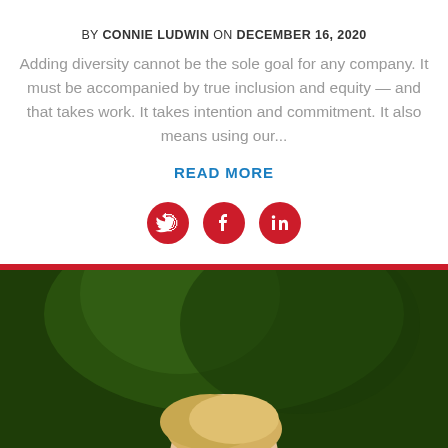BY CONNIE LUDWIN ON DECEMBER 16, 2020
Adding diversity cannot be the sole goal for any company. It must be accompanied by true inclusion and equity — and that takes work. It takes intention and commitment. It also means using our...
READ MORE
[Figure (infographic): Three red circular social media icons: Twitter bird, Facebook f, and LinkedIn in]
[Figure (photo): Outdoor photo showing a person with blonde hair against a dark green foliage background, with a red bar at the top of the image]